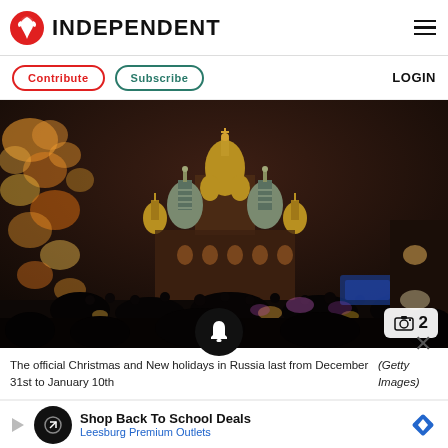INDEPENDENT
Contribute   Subscribe   LOGIN
[Figure (photo): Blurred night photo of Saint Basil's Cathedral in Moscow's Red Square, with bokeh lights from a Christmas tree on the left and a crowd in the foreground.]
The official Christmas and New holidays in Russia last from December 31st to January 10th (Getty Images)
Shop Back To School Deals
Leesburg Premium Outlets